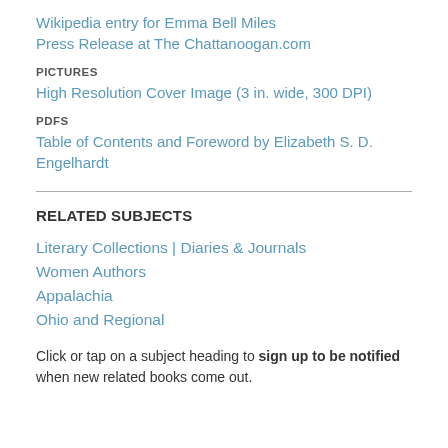Wikipedia entry for Emma Bell Miles
Press Release at The Chattanoogan.com
PICTURES
High Resolution Cover Image (3 in. wide, 300 DPI)
PDFS
Table of Contents and Foreword by Elizabeth S. D. Engelhardt
RELATED SUBJECTS
Literary Collections | Diaries & Journals
Women Authors
Appalachia
Ohio and Regional
Click or tap on a subject heading to sign up to be notified when new related books come out.